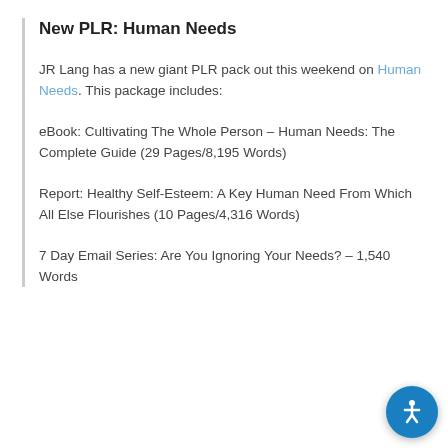New PLR: Human Needs
JR Lang has a new giant PLR pack out this weekend on Human Needs. This package includes:
eBook: Cultivating The Whole Person – Human Needs: The Complete Guide (29 Pages/8,195 Words)
Report: Healthy Self-Esteem: A Key Human Need From Which All Else Flourishes (10 Pages/4,316 Words)
7 Day Email Series: Are You Ignoring Your Needs? – 1,540 Words